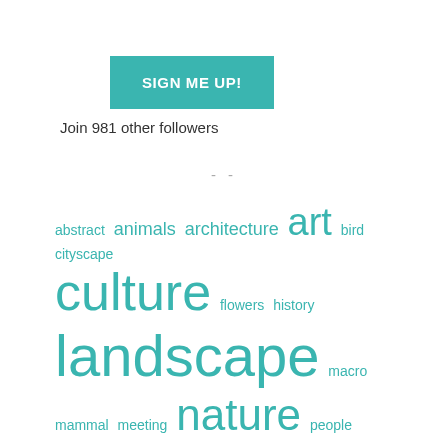[Figure (other): Teal/turquoise SIGN ME UP! button]
Join 981 other followers
- -
[Figure (infographic): Tag cloud with photography-related tags in varying sizes: abstract, animals, architecture, art, bird, cityscape, culture, flowers, history, landscape, macro, mammal, meeting, nature, people, photo-of-the-day, photography, plants, review, seasons, spring, street, technic, technical, travel]